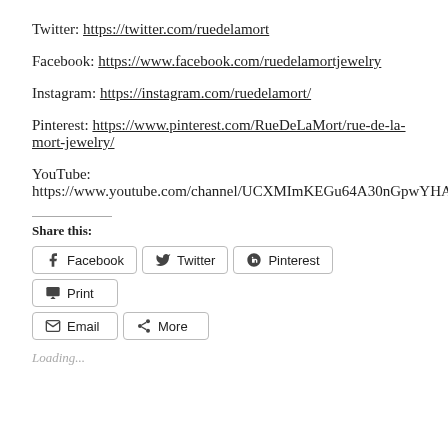Twitter: https://twitter.com/ruedelamort
Facebook: https://www.facebook.com/ruedelamortjewelry
Instagram: https://instagram.com/ruedelamort/
Pinterest: https://www.pinterest.com/RueDeLaMort/rue-de-la-mort-jewelry/
YouTube: https://www.youtube.com/channel/UCXMImKEGu64A30nGpwYHA7A
Share this:
Loading...